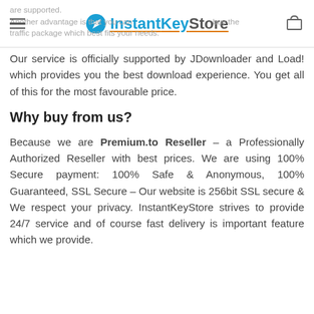InstantKeyStore — Another advantage is that you can buy the traffic package which best fits your needs.
Our service is officially supported by JDownloader and Load! which provides you the best download experience. You get all of this for the most favourable price.
Why buy from us?
Because we are Premium.to Reseller – a Professionally Authorized Reseller with best prices. We are using 100% Secure payment: 100% Safe & Anonymous, 100% Guaranteed, SSL Secure – Our website is 256bit SSL secure & We respect your privacy. InstantKeyStore strives to provide 24/7 service and of course fast delivery is important feature which we provide.